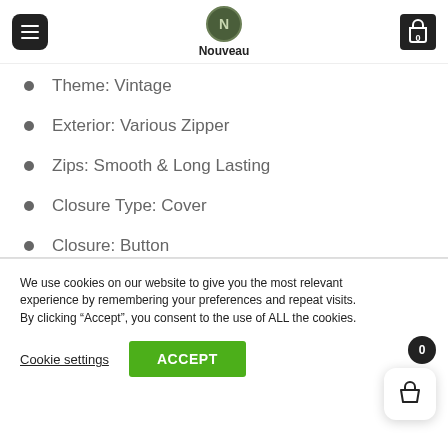Nouveau
Theme: Vintage
Exterior: Various Zipper
Zips: Smooth & Long Lasting
Closure Type: Cover
Closure: Button
Strap: Adjustable Straps
We use cookies on our website to give you the most relevant experience by remembering your preferences and repeat visits. By clicking “Accept”, you consent to the use of ALL the cookies.
Cookie settings  ACCEPT